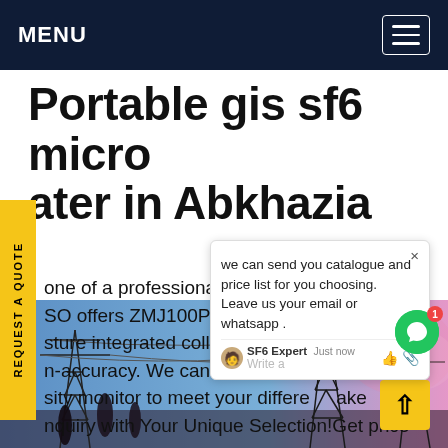MENU
Portable gis sf6 micro ater in Abkhazia
one of a professional SF6 density plier, SO offers ZMJ100PRDH SF6 gas d o- sture integrated collector with g and n-accuracy. We can offer a v s sity monitor to meet your differe ake nquiry with Your Unique Selection!Get price
[Figure (screenshot): Chat popup overlay showing message: 'we can send you catalogue and price list for you choosing. Leave us your email or whatsapp .' with SF6 Expert agent and reply interface, green chat bubble icon with red notification badge]
[Figure (photo): Photo of electrical power transmission towers/pylons and substation infrastructure against a blue sky with pink/purple highlights at bottom of page]